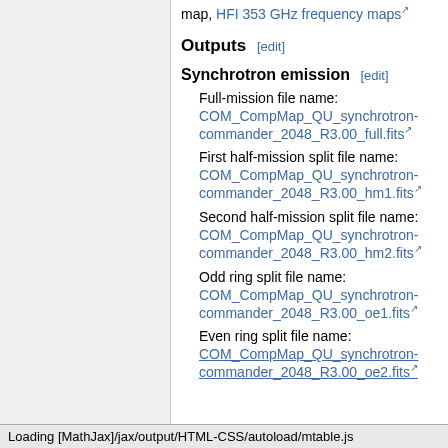map, HFI 353 GHz frequency maps
Outputs [edit]
Synchrotron emission [edit]
Full-mission file name:
COM_CompMap_QU_synchrotron-commander_2048_R3.00_full.fits
First half-mission split file name:
COM_CompMap_QU_synchrotron-commander_2048_R3.00_hm1.fits
Second half-mission split file name:
COM_CompMap_QU_synchrotron-commander_2048_R3.00_hm2.fits
Odd ring split file name:
COM_CompMap_QU_synchrotron-commander_2048_R3.00_oe1.fits
Even ring split file name:
COM_CompMap_QU_synchrotron-commander_2048_R3.00_oe2.fits
Loading [MathJax]/jax/output/HTML-CSS/autoload/mtable.js